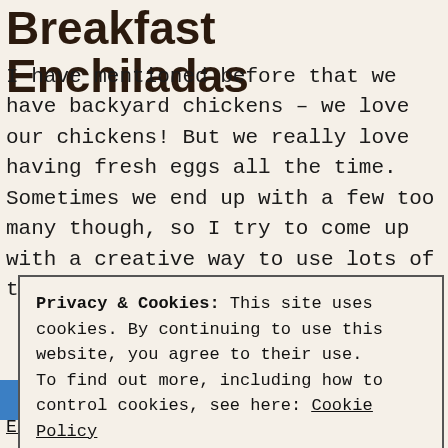Breakfast Enchiladas
I have mentioned before that we have backyard chickens – we love our chickens! But we really love having fresh eggs all the time. Sometimes we end up with a few too many though, so I try to come up with a creative way to use lots of them all at once. This time that
Privacy & Cookies: This site uses cookies. By continuing to use this website, you agree to their use.
To find out more, including how to control cookies, see here: Cookie Policy
Close and accept
Breakfast, Casseroles, Egg Dishes, Enchiladas, Main Dishes,